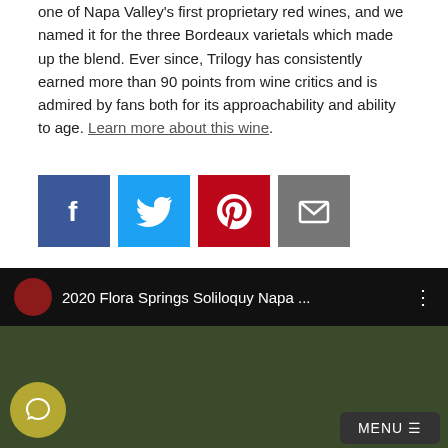one of Napa Valley's first proprietary red wines, and we named it for the three Bordeaux varietals which made up the blend. Ever since, Trilogy has consistently earned more than 90 points from wine critics and is admired by fans both for its approachability and ability to age. Learn more about this wine.
[Figure (other): Four social media share buttons: Facebook (blue), Twitter (light blue), Pinterest (red), Email (gray)]
Wine Weirdos on the 2020 Soliloquy
February 16, 2022
"...the quality of the fruit here is preposterous — it is so high, the Sauvignon Blanc is so decadent and lovely...it's just captivating...this is Napa done right..."
[Figure (screenshot): Video thumbnail with dark background showing '2020 Flora Springs Soliloquy Napa ...' title and a MENU button, with a chat button overlay at bottom left]